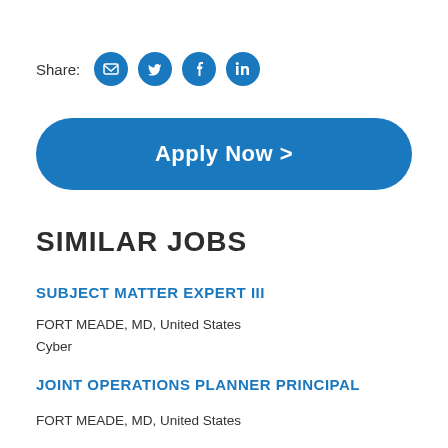Share:
[Figure (infographic): Share icons: email, Twitter, Facebook, LinkedIn — blue circles with white icons]
Apply Now >
SIMILAR JOBS
SUBJECT MATTER EXPERT III
FORT MEADE, MD, United States
Cyber
JOINT OPERATIONS PLANNER PRINCIPAL
FORT MEADE, MD, United States
Cyber